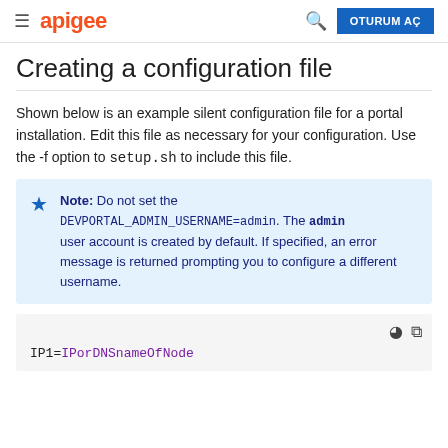apigee | OTURUM AÇ
Creating a configuration file
Shown below is an example silent configuration file for a portal installation. Edit this file as necessary for your configuration. Use the -f option to setup.sh to include this file.
Note: Do not set the DEVPORTAL_ADMIN_USERNAME=admin. The admin user account is created by default. If specified, an error message is returned prompting you to configure a different username.
IP1=IPorDNSnameOfNode